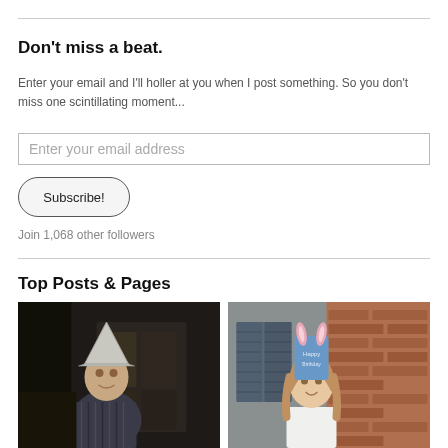Don't miss a beat.
Enter your email and I'll holler at you when I post something. So you don't miss one scintillating moment...
Enter your email address
Subscribe!
Join 1,068 other followers
Top Posts & Pages
[Figure (photo): Man wearing a silver foil hat, dark interior background]
[Figure (photo): Young girl wearing a blue paper birthday crown hat, outdoor brick wall background]